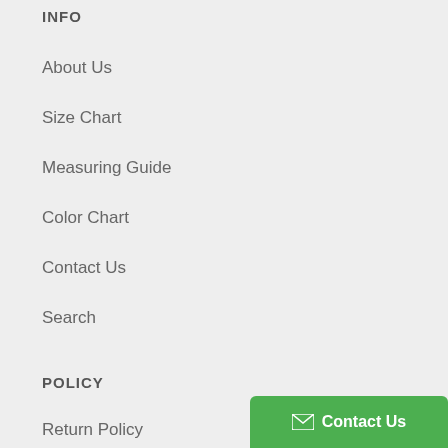INFO
About Us
Size Chart
Measuring Guide
Color Chart
Contact Us
Search
POLICY
Return Policy
Contact Us